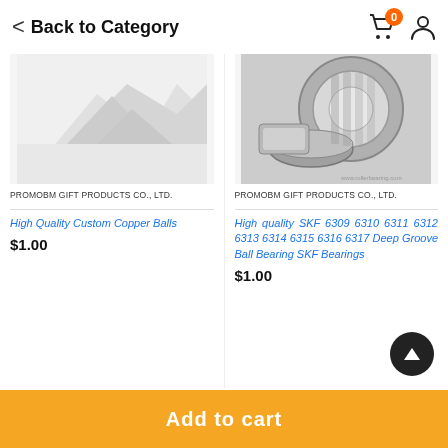< Back to Category
[Figure (photo): Partial product image - white/grey abstract shape on light background (copper balls product)]
[Figure (photo): Tapered roller bearings and rings arranged together, metallic silver, SKF bearings product photo]
PROMOBM GIFT PRODUCTS CO., LTD.
PROMOBM GIFT PRODUCTS CO., LTD.
High Quality Custom Copper Balls
High quality SKF 6309 6310 6311 6312 6313 6314 6315 6316 6317 Deep Groove Ball Bearing SKF Bearings
$1.00
$1.00
Add to cart